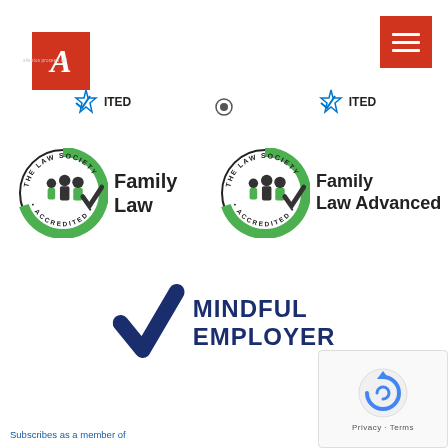[Figure (logo): Alison Jones solicitors logo - red square with cursive A letter and text below]
[Figure (logo): Hamburger menu icon - red square with three white horizontal lines]
[Figure (logo): Partial cropped accreditation logos row at top - showing ITED text fragments]
[Figure (logo): The Law Society Accredited - Family Law badge with circular green and black family figures logo]
[Figure (logo): The Law Society Accredited - Family Law Advanced badge with circular green and black family figures logo]
[Figure (logo): Mindful Employer logo - dark blue checkmark with MINDFUL EMPLOYER text]
[Figure (logo): reCAPTCHA widget - Privacy and Terms]
Subscribes as a member of